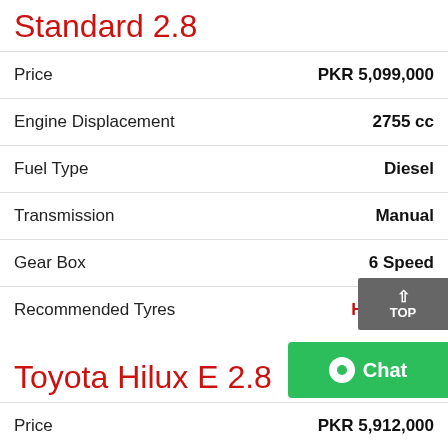Standard 2.8
| Attribute | Value |
| --- | --- |
| Price | PKR 5,099,000 |
| Engine Displacement | 2755 cc |
| Fuel Type | Diesel |
| Transmission | Manual |
| Gear Box | 6 Speed |
| Recommended Tyres | Hilux Vigo |
Toyota Hilux E 2.8
| Attribute | Value |
| --- | --- |
| Price | PKR 5,912,000 |
| Engine Displacement | 2755 cc |
| Fuel Type | Diesel |